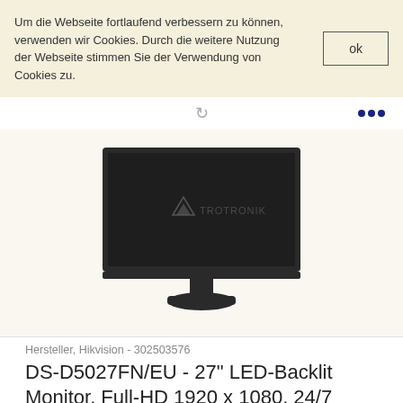Um die Webseite fortlaufend verbessern zu können, verwenden wir Cookies. Durch die weitere Nutzung der Webseite stimmen Sie der Verwendung von Cookies zu.
ok
[Figure (photo): A dark grey/black 27-inch monitor on a stand, with a TROTRONIK watermark overlaid on the screen.]
Hersteller, Hikvision - 302503576
DS-D5027FN/EU - 27" LED-Backlit Monitor, Full-HD 1920 x 1080, 24/7